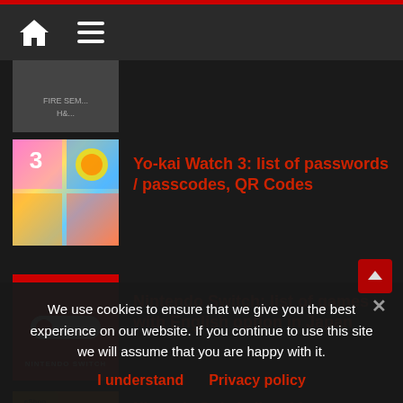Navigation header with home and menu icons
[Figure (screenshot): Partially visible article thumbnail showing hands/book cover]
[Figure (screenshot): Yo-kai Watch 3 colorful game artwork thumbnail]
Yo-kai Watch 3: list of passwords / passcodes, QR Codes
[Figure (logo): Nintendo Switch red logo thumbnail]
Nintendo Switch: list of games with English option in Japan
[Figure (screenshot): Nintendo eShop orange thumbnail]
Nintendo Switch: list of free games, Game Trials
We use cookies to ensure that we give you the best experience on our website. If you continue to use this site we will assume that you are happy with it.
I understand   Privacy policy